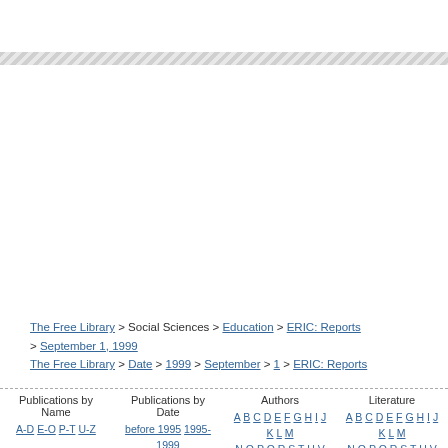[Figure (other): Diagonal stripe banner/header decoration bar]
The Free Library > Social Sciences > Education > ERIC: Reports > September 1, 1999
The Free Library > Date > 1999 > September > 1 > ERIC: Reports
Publications by Name
A-D E-O P-T U-Z
Publications by Date
before 1995 1995-1999 2000-2004 2005-2009 2010-
Authors
A B C D E F G H I J K L M N O P Q R S T U V W X Y Z
Literature
A B C D E F G H I J K L M N O P Q R S T U V W X Y Z